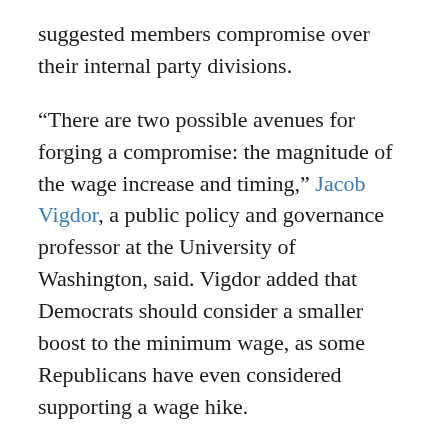suggested members compromise over their internal party divisions.
“There are two possible avenues for forging a compromise: the magnitude of the wage increase and timing,” Jacob Vigdor, a public policy and governance professor at the University of Washington, said. Vigdor added that Democrats should consider a smaller boost to the minimum wage, as some Republicans have even considered supporting a wage hike.
“Go low enough and you might even pick up Republican support, as evidenced by the Romney-Cotton proposal,” Vigdor said.